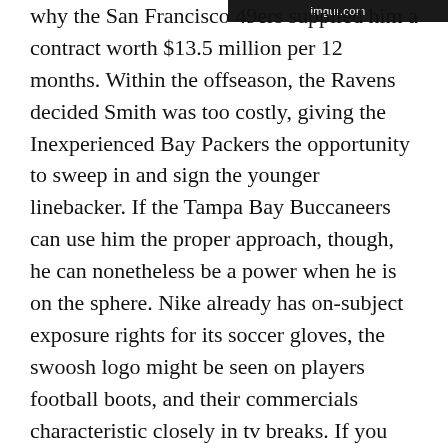imgur.com
why the San Francisco 49ers supplied him a contract worth $13.5 million per 12 months. Within the offseason, the Ravens decided Smith was too costly, giving the Inexperienced Bay Packers the opportunity to sweep in and sign the younger linebacker. If the Tampa Bay Buccaneers can use him the proper approach, though, he can nonetheless be a power when he is on the sphere. Nike already has on-subject exposure rights for its soccer gloves, the swoosh logo might be seen on players football boots, and their commercials characteristic closely in tv breaks. If you are aware of the northern cardinal, then you have in all probability heard of the Arizona Cardinals, which options a crimson bird as its brand. Its